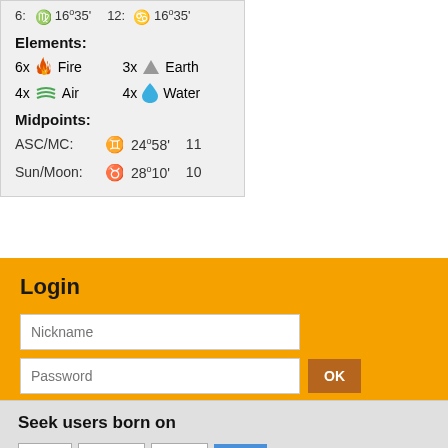6: ♍ 16°35'   12: ♋ 16°35'
Elements:
6x 🔥 Fire   3x ⛰ Earth
4x 💨 Air   4x 💧 Water
Midpoints:
ASC/MC:  ♊ 24°58'  11
Sun/Moon: ♉ 28°10'  10
Login
Nickname
Password
OK
Register »
Seek users born on
Day  Month  Year  OK